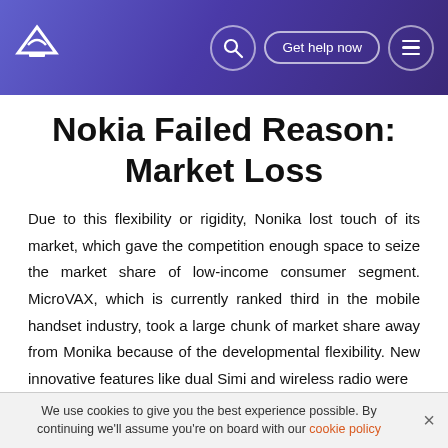Nokia Failed Reason: Market Loss — site header with logo, search, Get help now, menu
Nokia Failed Reason: Market Loss
Due to this flexibility or rigidity, Nonika lost touch of its market, which gave the competition enough space to seize the market share of low-income consumer segment. MicroVAX, which is currently ranked third in the mobile handset industry, took a large chunk of market share away from Monika because of the developmental flexibility. New innovative features like dual Simi and wireless radio were failed to arrest its market share, because it could not add
We use cookies to give you the best experience possible. By continuing we'll assume you're on board with our cookie policy